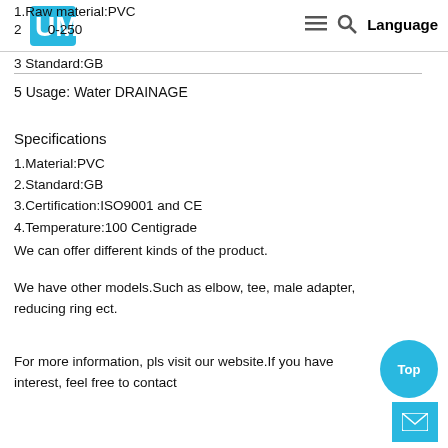≡  🔍  Language
1.Raw material:PVC
2 [logo] 0-250
3 Standard:GB
5 Usage: Water DRAINAGE
Specifications
1.Material:PVC
2.Standard:GB
3.Certification:ISO9001 and CE
4.Temperature:100 Centigrade
We can offer different kinds of the product.
We have other models.Such as elbow, tee, male adapter, reducing ring ect.
For more information, pls visit our website.If you have interest,feel free to contact